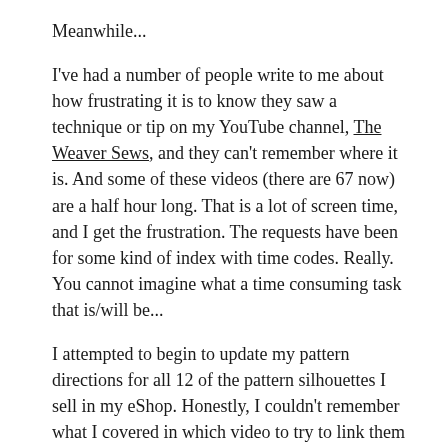Meanwhile...
I've had a number of people write to me about how frustrating it is to know they saw a technique or tip on my YouTube channel, The Weaver Sews, and they can't remember where it is. And some of these videos (there are 67 now) are a half hour long. That is a lot of screen time, and I get the frustration. The requests have been for some kind of index with time codes. Really. You cannot imagine what a time consuming task that is/will be...
I attempted to begin to update my pattern directions for all 12 of the pattern silhouettes I sell in my eShop. Honestly, I couldn't remember what I covered in which video to try to link them to my directions. Was the alteration to the Y line covered in Sleeve Alterations part 1 or 2?